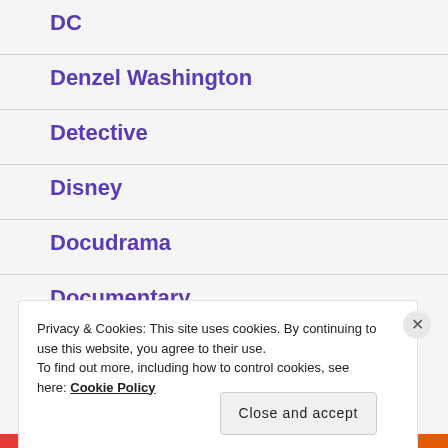DC
Denzel Washington
Detective
Disney
Docudrama
Documentary
Privacy & Cookies: This site uses cookies. By continuing to use this website, you agree to their use.
To find out more, including how to control cookies, see here: Cookie Policy
Close and accept